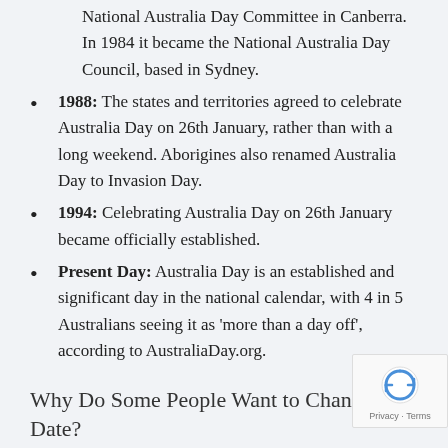National Australia Day Committee in Canberra. In 1984 it became the National Australia Day Council, based in Sydney.
1988: The states and territories agreed to celebrate Australia Day on 26th January, rather than with a long weekend. Aborigines also renamed Australia Day to Invasion Day.
1994: Celebrating Australia Day on 26th January became officially established.
Present Day: Australia Day is an established and significant day in the national calendar, with 4 in 5 Australians seeing it as 'more than a day off', according to AustraliaDay.org.
Why Do Some People Want to Change the Date?
As you may already know, Australia Day is complicated a lot of people and in recent years, there have been many calls for the date we celebrate it to be changed.